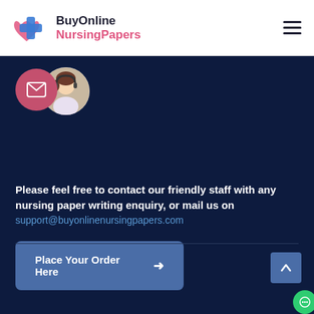BuyOnline NursingPapers
[Figure (logo): BuyOnline NursingPapers logo with heart and cross icon]
[Figure (illustration): Email/envelope icon in pink circle and customer service agent photo in circular frame]
Please feel free to contact our friendly staff with any nursing paper writing enquiry, or mail us on support@buyonlinenursingpapers.com
Place Your Order Here →
[Figure (other): Scroll to top button (blue square with upward arrow) and green chat bubble button]